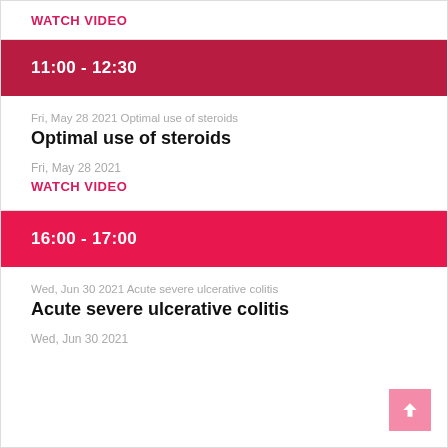WATCH VIDEO
11:00 - 12:30
Fri, May 28 2021 Optimal use of steroids
Optimal use of steroids
Fri, May 28 2021
WATCH VIDEO
16:00 - 17:00
Wed, Jun 30 2021 Acute severe ulcerative colitis
Acute severe ulcerative colitis
Wed, Jun 30 2021